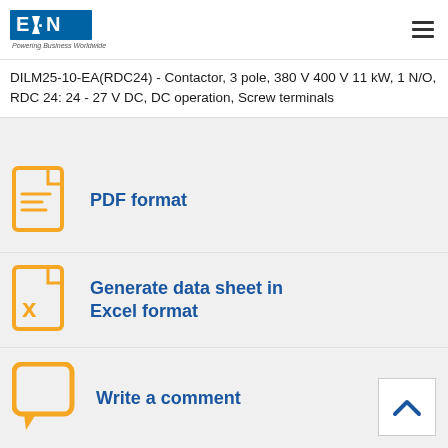Eaton - Powering Business Worldwide
DILM25-10-EA(RDC24) - Contactor, 3 pole, 380 V 400 V 11 kW, 1 N/O, RDC 24: 24 - 27 V DC, DC operation, Screw terminals
PDF format
Generate data sheet in Excel format
Write a comment